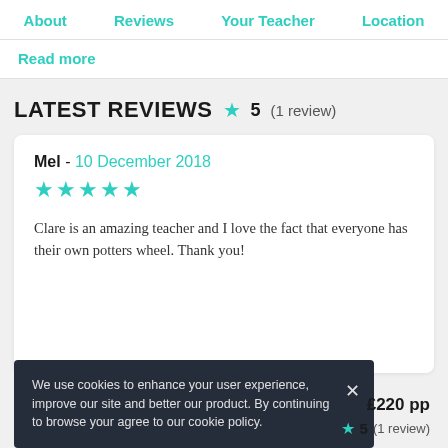About   Reviews   Your Teacher   Location
Read more
LATEST REVIEWS  ★ 5  (1 review)
Mel - 10 December 2018
★★★★★
Clare is an amazing teacher and I love the fact that everyone has their own potters wheel. Thank you!
We use cookies to enhance your user experience, improve our site and better our product. By continuing to browse your agree to our cookie policy.
£220 pp
★ 5  (1 review)